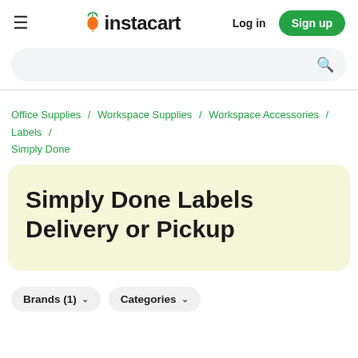≡  instacart   Log in   Sign up
Search bar
Office Supplies / Workspace Supplies / Workspace Accessories / Labels / Simply Done
Simply Done Labels Delivery or Pickup
Brands (1)   Categories